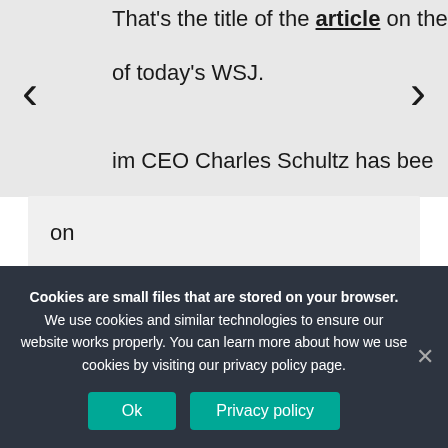That's the title of the article on the front of today's WSJ.
im CEO Charles Schultz has been on
Sarah Levitt · August 31, 2022 9:24 pm
Cookies are small files that are stored on your browser. We use cookies and similar technologies to ensure our website works properly. You can learn more about how we use cookies by visiting our privacy policy page.